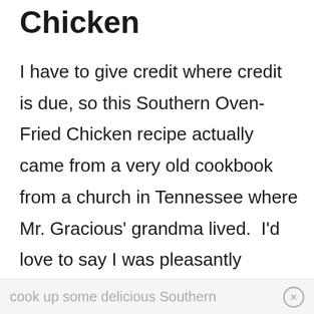Chicken
I have to give credit where credit is due, so this Southern Oven-Fried Chicken recipe actually came from a very old cookbook from a church in Tennessee where Mr. Gracious' grandma lived.  I'd love to say I was pleasantly surprised at how AMAZING it is, but seriously.  Of course, these Southern ladies can
cook up some delicious Southern